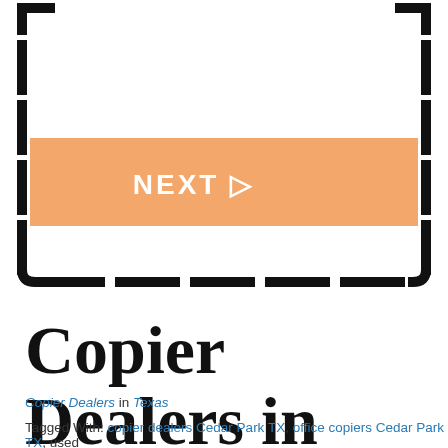[Figure (other): Dashed border rectangle with an orange 'NEXT ▷' button inside, resembling a navigation element on a webpage]
Copier Dealers in Cedar Park, TX
Copier Dealers in Texas
Tagged With: copier dealers Cedar Park TX, office copiers Cedar Park TX, used